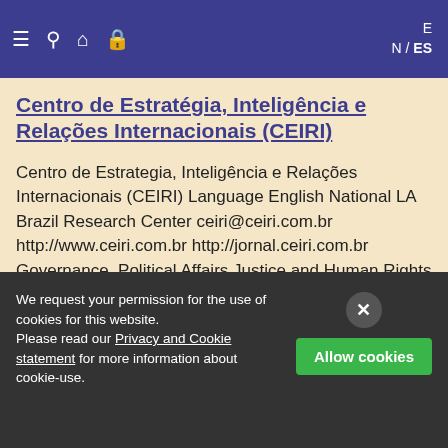= 🔍 🏠 🔒   EN / ES
Centro de Estratégia, Inteligência e Relações Internacionais (CEIRI)
Centro de Estrategia, Inteligência e Relações Internacionais (CEIRI) Language English National LA Brazil Research Center ceiri@ceiri.com.br http://www.ceiri.com.br http://jornal.ceiri.com.br Governance, Political Affairs Justice and Human Rights Security …
Countries (LAC):
Brazil
We request your permission for the use of cookies for this website.
Please read our Privacy and Cookie statement for more information about cookie-use.